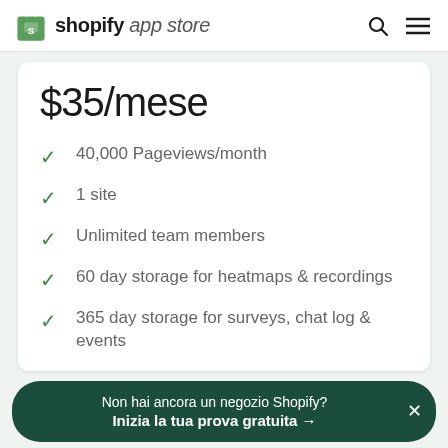shopify app store
$35/mese
40,000 Pageviews/month
1 site
Unlimited team members
60 day storage for heatmaps & recordings
365 day storage for surveys, chat log & events
Non hai ancora un negozio Shopify? Inizia la tua prova gratuita →
* Tutti i prezzi sono fatturati in USD